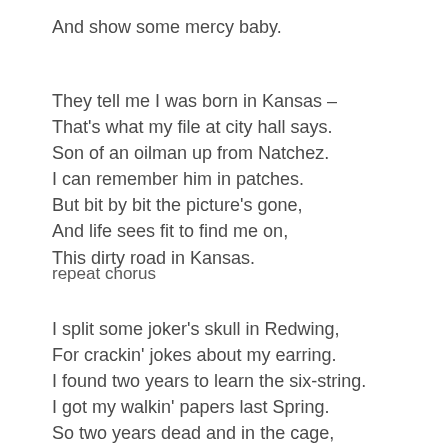And show some mercy baby.
They tell me I was born in Kansas –
That's what my file at city hall says.
Son of an oilman up from Natchez.
I can remember him in patches.
But bit by bit the picture's gone,
And life sees fit to find me on,
This dirty road in Kansas.
repeat chorus
I split some joker's skull in Redwing,
For crackin' jokes about my earring.
I found two years to learn the six-string.
I got my walkin' papers last Spring.
So two years dead and in the cage,